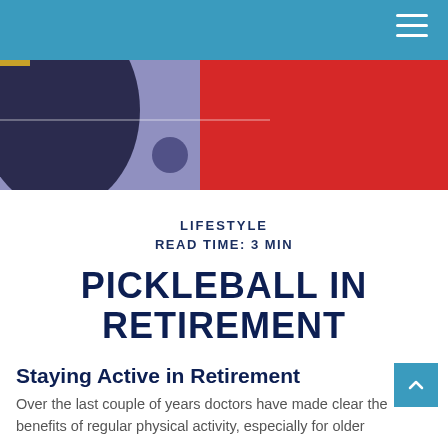Navigation header bar with hamburger menu
[Figure (photo): Close-up photo of a pickleball and paddle on a blue/purple court surface with a red background area]
LIFESTYLE
READ TIME: 3 MIN
PICKLEBALL IN RETIREMENT
Staying Active in Retirement
Over the last couple of years doctors have made clear the benefits of regular physical activity, especially for older